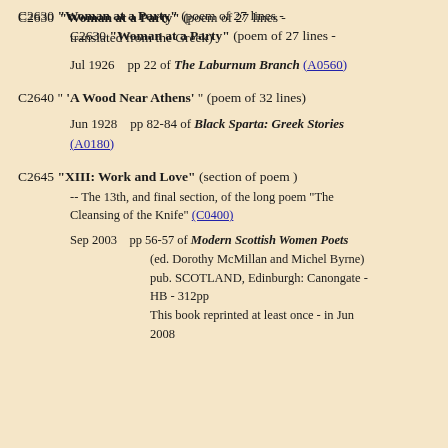C2630 "Woman at a Party" (poem of 27 lines - translated from the Greek)
Jul 1926  pp 22 of The Laburnum Branch (A0560)
C2640 " 'A Wood Near Athens' " (poem of 32 lines)
Jun 1928  pp 82-84 of Black Sparta: Greek Stories (A0180)
C2645 "XIII: Work and Love" (section of poem)
-- The 13th, and final section, of the long poem "The Cleansing of the Knife" (C0400)
Sep 2003  pp 56-57 of Modern Scottish Women Poets (ed. Dorothy McMillan and Michel Byrne) pub. SCOTLAND, Edinburgh: Canongate - HB - 312pp
This book reprinted at least once - in Jun 2008